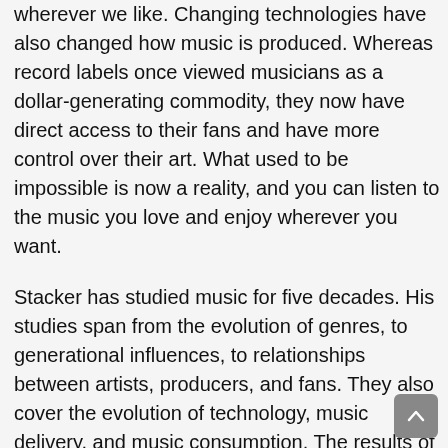wherever we like. Changing technologies have also changed how music is produced. Whereas record labels once viewed musicians as a dollar-generating commodity, they now have direct access to their fans and have more control over their art. What used to be impossible is now a reality, and you can listen to the music you love and enjoy wherever you want.
Stacker has studied music for five decades. His studies span from the evolution of genres, to generational influences, to relationships between artists, producers, and fans. They also cover the evolution of technology, music delivery, and music consumption. The results of his studies will be helpful to music lovers and music historians. Hopefully, this book will be a reference point for years to come. There is no better time than now to start listening to music.